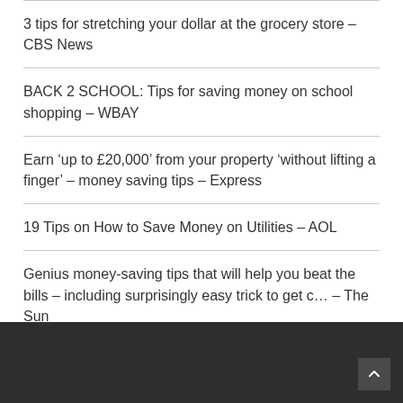3 tips for stretching your dollar at the grocery store – CBS News
BACK 2 SCHOOL: Tips for saving money on school shopping – WBAY
Earn ‘up to £20,000’ from your property ‘without lifting a finger’ – money saving tips – Express
19 Tips on How to Save Money on Utilities – AOL
Genius money-saving tips that will help you beat the bills – including surprisingly easy trick to get c… – The Sun